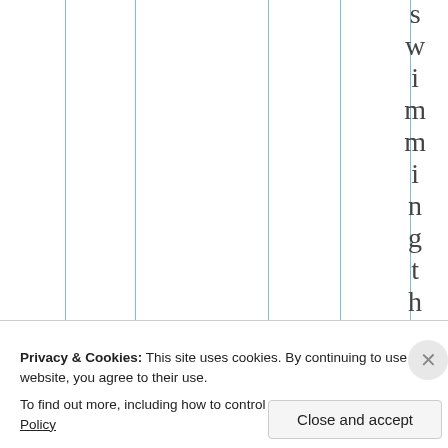[Figure (other): Partial view of a data table or chart with vertical teal column divider lines on a white background, and vertical rotated text reading 'swimming the' on the right side]
Privacy & Cookies: This site uses cookies. By continuing to use this website, you agree to their use.
To find out more, including how to control cookies, see here: Cookie Policy
Close and accept